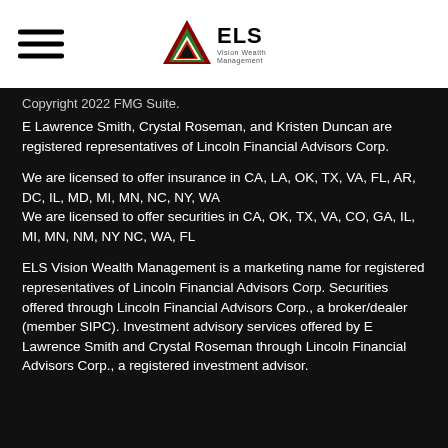[Figure (logo): ELS Vision Wealth Management logo with triangle graphic and company name]
Copyright 2022 FMG Suite.
E Lawrence Smith, Crystal Roseman, and Kristen Duncan are registered representatives of Lincoln Financial Advisors Corp.
We are licensed to offer insurance in CA, LA, OK, TX, VA, FL, AR, DC, IL, MD, MI, MN, NC, NY, WA
We are licensed to offer securities in CA, OK, TX, VA, CO, GA, IL, MI, MN, NM, NY NC, WA, FL
ELS Vision Wealth Management is a marketing name for registered representatives of Lincoln Financial Advisors Corp. Securities offered through Lincoln Financial Advisors Corp., a broker/dealer (member SIPC). Investment advisory services offered by E Lawrence Smith and Crystal Roseman through Lincoln Financial Advisors Corp., a registered investment advisor.